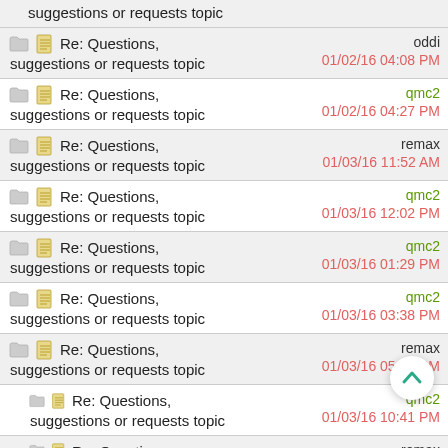suggestions or requests topic | 01/02/16 04:08 PM | oddi
Re: Questions, suggestions or requests topic | qmc2 | 01/02/16 04:27 PM
Re: Questions, suggestions or requests topic | remax | 01/03/16 11:52 AM
Re: Questions, suggestions or requests topic | qmc2 | 01/03/16 12:02 PM
Re: Questions, suggestions or requests topic | qmc2 | 01/03/16 01:29 PM
Re: Questions, suggestions or requests topic | qmc2 | 01/03/16 03:38 PM
Re: Questions, suggestions or requests topic | remax | 01/03/16 05:51 PM
Re: Questions, suggestions or requests topic | qmc2 | 01/03/16 10:41 PM
Re: Questions, suggestions or requests | remax | 01/04/16 01:06 PM